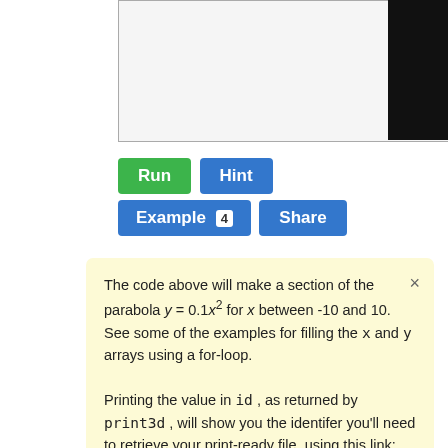[Figure (screenshot): Top portion of a code editor or output panel, white/light gray background with a black panel on the right side, bordered box.]
[Figure (screenshot): UI buttons: green 'Run' button, blue 'Hint' button, blue 'Example 4' button with badge, blue 'Share' button.]
The code above will make a section of the parabola y = 0.1x^2 for x between -10 and 10. See some of the examples for filling the x and y arrays using a for-loop.

Printing the value in id , as returned by print3d , will show you the identifer you'll need to retrieve your print-ready file, using this link:
http://www.codebymath.com/welco